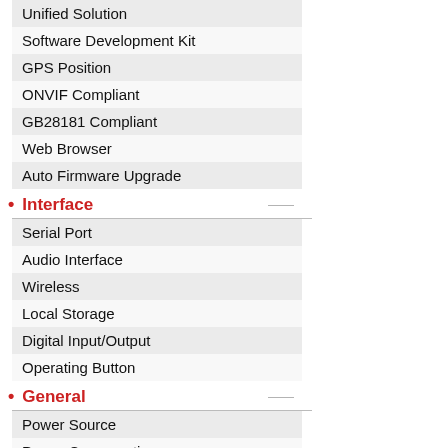| Unified Solution |
| Software Development Kit |
| GPS Position |
| ONVIF Compliant |
| GB28181 Compliant |
| Web Browser |
| Auto Firmware Upgrade |
Interface
| Serial Port |
| Audio Interface |
| Wireless |
| Local Storage |
| Digital Input/Output |
| Operating Button |
General
| Power Source |
| Power Consumption |
| Weight |
| Dimensions |
| Environmental Casing |